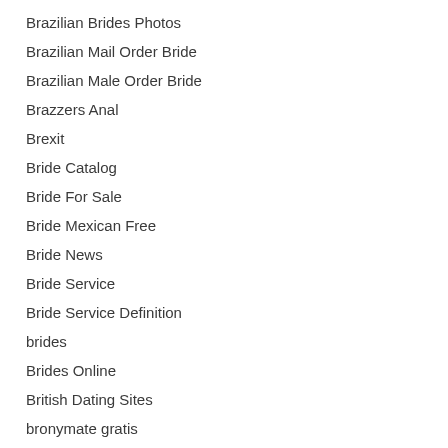Brazilian Brides Photos
Brazilian Mail Order Bride
Brazilian Male Order Bride
Brazzers Anal
Brexit
Bride Catalog
Bride For Sale
Bride Mexican Free
Bride News
Bride Service
Bride Service Definition
brides
Brides Online
British Dating Sites
bronymate gratis
Brunette Russians
build a website for free